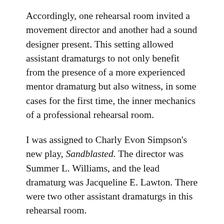Accordingly, one rehearsal room invited a movement director and another had a sound designer present. This setting allowed assistant dramaturgs to not only benefit from the presence of a more experienced mentor dramaturg but also witness, in some cases for the first time, the inner mechanics of a professional rehearsal room.
I was assigned to Charly Evon Simpson's new play, Sandblasted. The director was Summer L. Williams, and the lead dramaturg was Jacqueline E. Lawton. There were two other assistant dramaturgs in this rehearsal room.
The most exciting aspect of the rehearsal process for me was to witness the script development. Before the intensive began, I was sent a first draft, which was 45 pages long. Throughout the five days